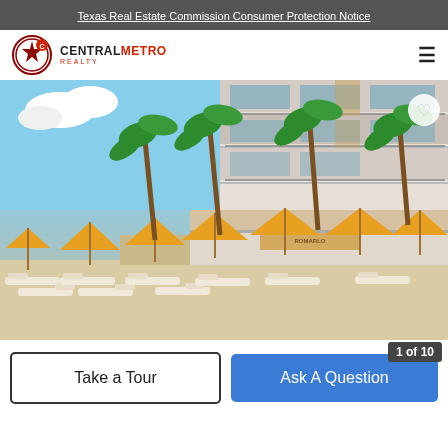Texas Real Estate Commission Consumer Protection Notice
[Figure (logo): Central Metro Realty logo with Texas state outline badge and hamburger menu icon]
[Figure (photo): Beachfront resort property with white lounge chairs, yellow umbrellas, palm trees, and multi-story building with balconies]
Take a Tour
Ask A Question
1 of 10